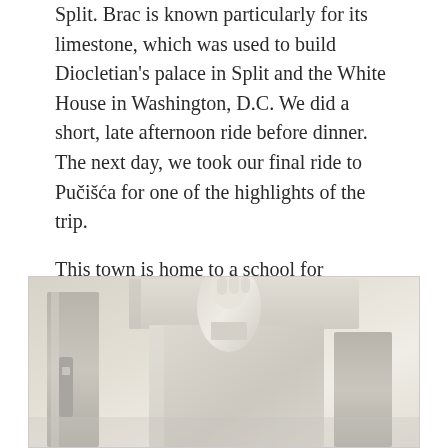Split. Brac is known particularly for its limestone, which was used to build Diocletian's palace in Split and the White House in Washington, D.C. We did a short, late afternoon ride before dinner. The next day, we took our final ride to Pučišća for one of the highlights of the trip.
This town is home to a school for stonemasons, generally of high school age. There are three- and four-year programs. Our guide was one of the students, who hailed from Bosnia, and who spoke fabulous English with a great sense of humor. (He said he learned the language by watching the Disney Channel.)
[Figure (photo): Photo of white limestone stone sculptures or architectural elements, likely from the stonemason school in Pučišća, Croatia. Shows carved white stone pieces including what appears to be a hand or figure and architectural moldings against a light background.]